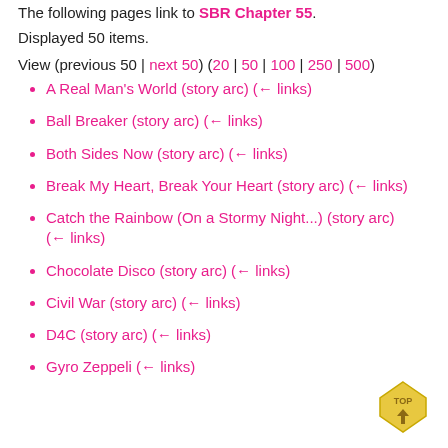The following pages link to SBR Chapter 55.
Displayed 50 items.
View (previous 50 | next 50) (20 | 50 | 100 | 250 | 500)
A Real Man's World (story arc)  (← links)
Ball Breaker (story arc)  (← links)
Both Sides Now (story arc)  (← links)
Break My Heart, Break Your Heart (story arc)  (← links)
Catch the Rainbow (On a Stormy Night...) (story arc)  (← links)
Chocolate Disco (story arc)  (← links)
Civil War (story arc)  (← links)
D4C (story arc)  (← links)
Gyro Zeppeli  (← links)
[Figure (illustration): Gold TOP button with arrow pointing up]